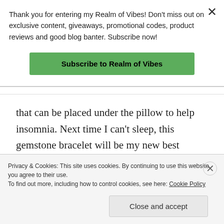Thank you for entering my Realm of Vibes! Don't miss out on exclusive content, giveaways, promotional codes, product reviews and good blog banter. Subscribe now!
Subscribe to Realm of Vibes
that can be placed under the pillow to help insomnia. Next time I can't sleep, this gemstone bracelet will be my new best friend.
Scott and Kae, owners of Seeking OM, read my mind. I often wore the Howlite and Ganesh gemstone bracelet...
Privacy & Cookies: This site uses cookies. By continuing to use this website, you agree to their use. To find out more, including how to control cookies, see here: Cookie Policy
Close and accept